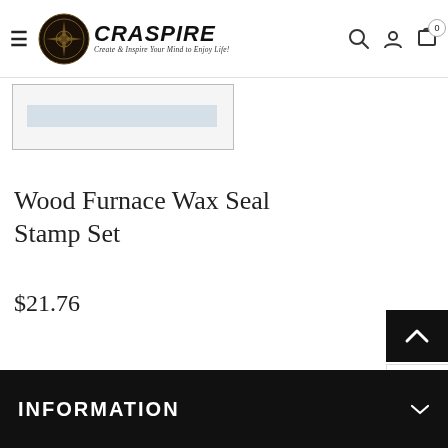CRASPIRE — Create & Inspire Your Mind to Enjoy Life!
[Figure (screenshot): Partially visible product image placeholder with light blue-gray rectangle]
Wood Furnace Wax Seal Stamp Set
$21.76
INFORMATION